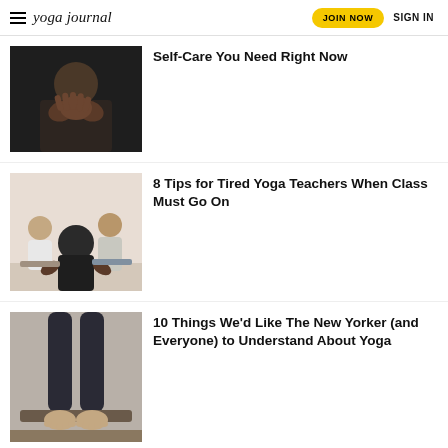yoga journal | JOIN NOW | SIGN IN
[Figure (photo): Person with hands clasped in meditation/prayer pose, dark background]
Self-Care You Need Right Now
[Figure (photo): Yoga class with students meditating on mats, instructor visible, studio setting]
8 Tips for Tired Yoga Teachers When Class Must Go On
[Figure (photo): Person standing barefoot on yoga mat, showing legs from waist down, dark leggings]
10 Things We'd Like The New Yorker (and Everyone) to Understand About Yoga